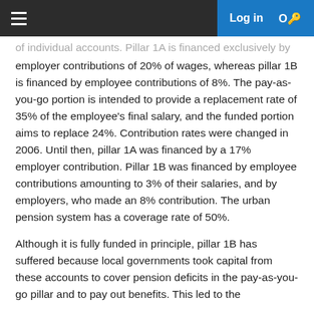Log in
of individual accounts. Pillar 1A is financed exclusively by employer contributions of 20% of wages, whereas pillar 1B is financed by employee contributions of 8%. The pay-as-you-go portion is intended to provide a replacement rate of 35% of the employee's final salary, and the funded portion aims to replace 24%. Contribution rates were changed in 2006. Until then, pillar 1A was financed by a 17% employer contribution. Pillar 1B was financed by employee contributions amounting to 3% of their salaries, and by employers, who made an 8% contribution. The urban pension system has a coverage rate of 50%.
Although it is fully funded in principle, pillar 1B has suffered because local governments took capital from these accounts to cover pension deficits in the pay-as-you-go pillar and to pay out benefits. This led to the